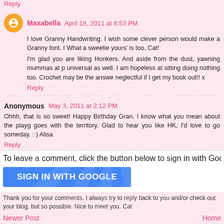Reply
Maxabella  April 18, 2011 at 8:53 PM
I love Granny Handwriting. I wish some clever person would make a Granny font. I What a sweetie yours' is too, Cat!
I'm glad you are liking Honkers. And aside from the dust, yawning mummas at p universal as well. I am hopeless at sitting doing nothing too. Crochet may be the answe neglectful if I get my book out!! x
Reply
Anonymous  May 3, 2011 at 2:12 PM
Ohhh, that is so sweet! Happy Birthday Gran. I know what you mean about the playg goes with the territory. Glad to hear you like HK, I'd love to go someday. : ) Alisa
Reply
To leave a comment, click the button below to sign in with Goog
SIGN IN WITH GOOGLE
Thank you for your comments. I always try to reply back to you and/or check out your blog, but so possible. Nice to meet you. Cat
Newer Post
Home
Subscribe to: Post Comments (Atom)